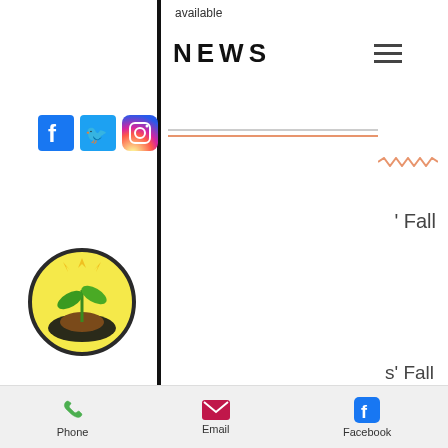available
NEWS
[Figure (logo): Grey County Agricultural Services logo with plant growing from hand]
[Figure (infographic): Social media icons: Facebook, Twitter, Instagram with horizontal divider lines (gray and orange)]
' Fall
s' Fall
September 10th 2022 at 9 am at the Heritage Place Shopping Centre in Owen Sound. Native and Ornamental Perennials, Bulbs and Corms, Shrubs and Ground Covers and more! Please see their website:
www.greycountymastergardeners.com
for more details!
Phone   Email   Facebook